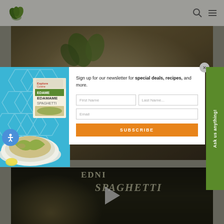[Figure (screenshot): Website header with green leaf logo on left, search icon and hamburger menu icon on right, on light background]
[Figure (photo): Top food photo showing pasta dish with herbs, dimmed by modal overlay]
[Figure (photo): Left side product advertisement panel with blue geometric hexagon background showing edamame spaghetti pasta dish on plate and Explore Cuisine product box]
[Figure (infographic): Newsletter signup modal popup with text 'Sign up for our newsletter for special deals, recipes, and more.' and form fields for First Name, Last Name, Email, and SUBSCRIBE button]
[Figure (screenshot): Green 'Ask us anything!' vertical side tab on right edge]
[Figure (photo): Bottom food photo showing pasta spaghetti dish with play button overlay and text 'EDNI' and 'SPAGHETTI']